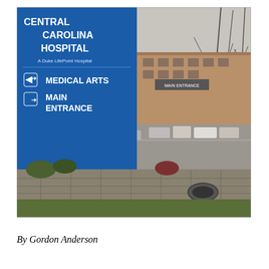[Figure (photo): Exterior photo of Central Carolina Hospital, a Duke LifePoint Hospital. A large blue sign in the foreground reads 'CENTRAL CAROLINA HOSPITAL - A Duke LifePoint Hospital' with arrows pointing to 'MEDICAL ARTS' and 'MAIN ENTRANCE'. Behind the sign is the hospital building with a parking area and cars. Trees with bare branches are visible on the right. A stone retaining wall and grassy areas are in the foreground.]
By Gordon Anderson